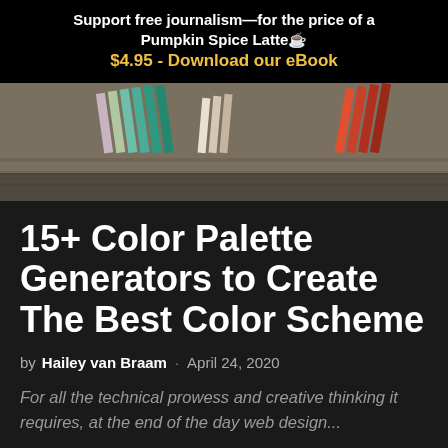Support free journalism—for the price of a Pumpkin Spice Latte☕ $4.95 - Download our eBook
[Figure (photo): Photo of color palette swatches and paint samples spread on a surface, showing various colors including greens, pinks, and reds]
15+ Color Palette Generators to Create The Best Color Scheme
by Hailey van Braam · April 24, 2020
For all the technical prowess and creative thinking it requires, at the end of the day web design...